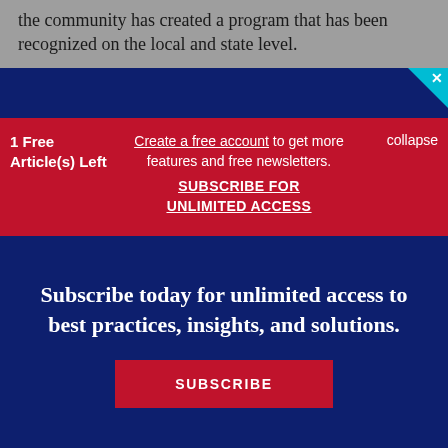the community has created a program that has been recognized on the local and state level.
1 Free Article(s) Left
Create a free account to get more features and free newsletters.
SUBSCRIBE FOR UNLIMITED ACCESS
collapse
Subscribe today for unlimited access to best practices, insights, and solutions.
SUBSCRIBE